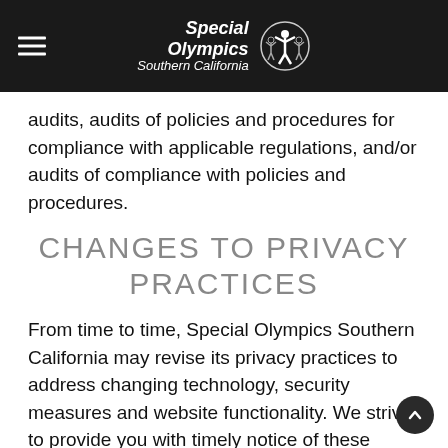Special Olympics Southern California
audits, audits of policies and procedures for compliance with applicable regulations, and/or audits of compliance with policies and procedures.
CHANGES TO PRIVACY PRACTICES
From time to time, Special Olympics Southern California may revise its privacy practices to address changing technology, security measures and website functionality. We strive to provide you with timely notice of these changes. Please contact us if you have any questions about changes to our privacy practices.